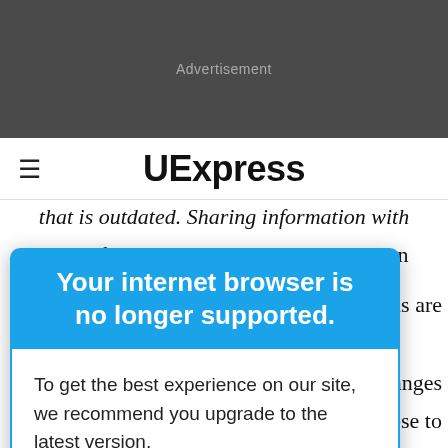[Figure (other): Dark grey advertisement banner placeholder]
UExpress
that is outdated. Sharing information with an old friend or colleague will result in an
Your internet browser is no longer supported.
To get the best experience on our site, we recommend you upgrade to the latest version.
icial gains are
- The changes
one close to
you. Discuss your plans and make